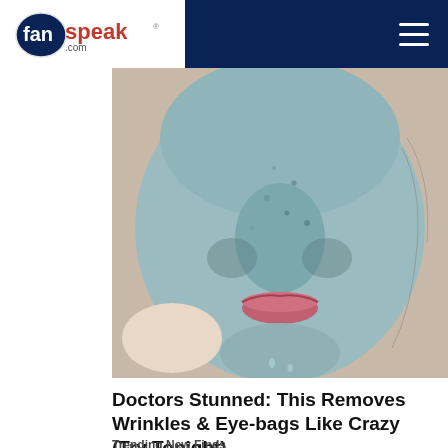fanspeak.com
[Figure (photo): Close-up of a person with a teal/blue clay face mask applied, lips visible, hand touching chin]
Doctors Stunned: This Removes Wrinkles & Eye-bags Like Crazy (Try Tonight)
Trending New Finds
[Figure (photo): Person in mustard/orange top holding an Arctos portable air cooler device, showing front grill panel]